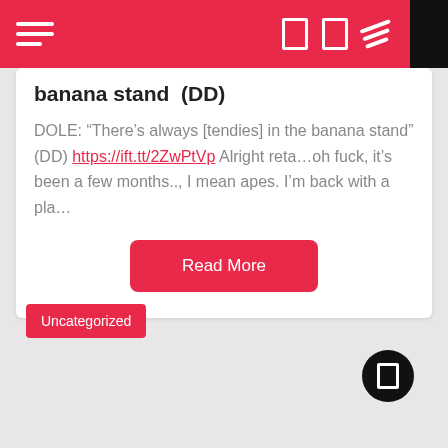Navigation bar with hamburger menu and icons
banana stand  (DD)
DOLE: “There’s always [tendies] in the banana stand” (DD) https://ift.tt/2ZwPtVp Alright reta…oh fuck, it’s been a few months.., I mean apes. I’m back with a pla…
Read More
Uncategorized